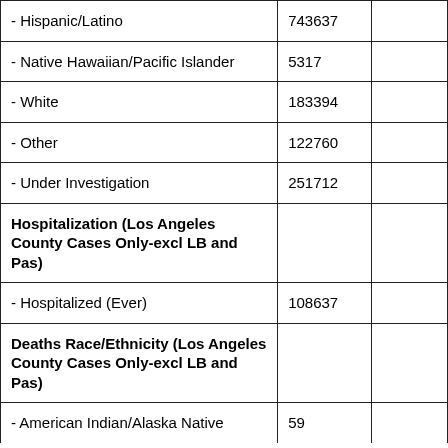| Category | Count |  |
| --- | --- | --- |
| - Hispanic/Latino | 743637 |  |
| - Native Hawaiian/Pacific Islander | 5317 |  |
| - White | 183394 |  |
| - Other | 122760 |  |
| - Under Investigation | 251712 |  |
| Hospitalization (Los Angeles County Cases Only-excl LB and Pas) |  |  |
| - Hospitalized (Ever) | 108637 |  |
| Deaths Race/Ethnicity (Los Angeles County Cases Only-excl LB and Pas) |  |  |
| - American Indian/Alaska Native | 59 |  |